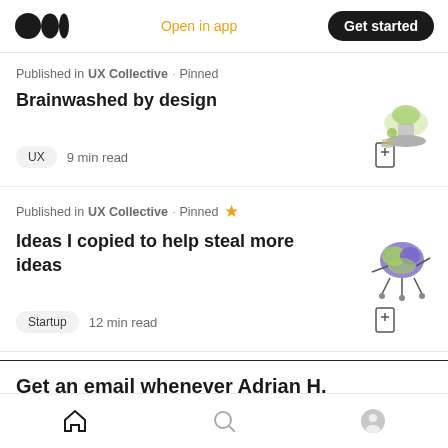Medium logo | Open in app | Get started
Published in UX Collective · Pinned
Brainwashed by design
UX  9 min read
Published in UX Collective · Pinned ★
Ideas I copied to help steal more ideas
Startup  12 min read
Get an email whenever Adrian H. Raudasehl